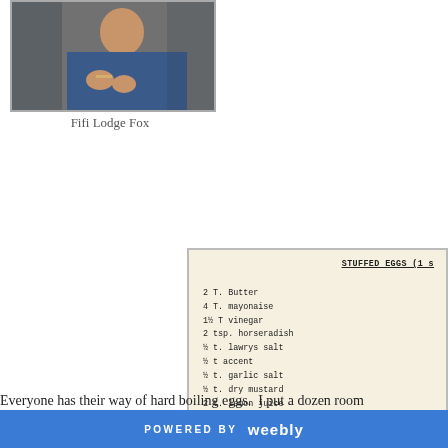[Figure (photo): Photo of a person (Fifi Lodge Fox) with hands visible and wearing a bracelet, upper body shot]
Fifi Lodge Fox
[Figure (photo): Scanned recipe card for Stuffed Eggs listing ingredients: 2 T. Butter, 4 T. mayonaise, 1½ T vinegar, 2 tsp. horseradish, ½ t. lawrys salt, ½ t accent, ½ t. garlic salt, ½ t. dry mustard, 2 t. lemon juice, ¼ t. pepper, 1 t. grated onion, pinch of sugar and tobasco]
Everyone has their way of hard boiling eggs.  I put a dozen room
POWERED BY weebly